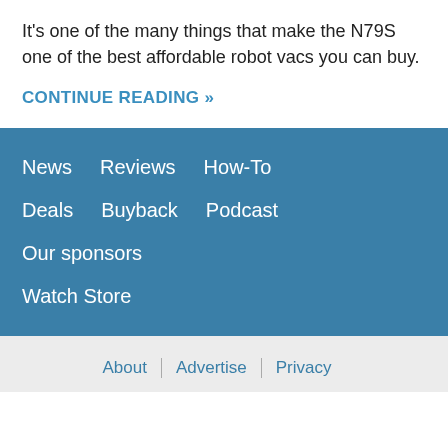It's one of the many things that make the N79S one of the best affordable robot vacs you can buy.
CONTINUE READING »
News
Reviews
How-To
Deals
Buyback
Podcast
Our sponsors
Watch Store
About  Advertise  Privacy